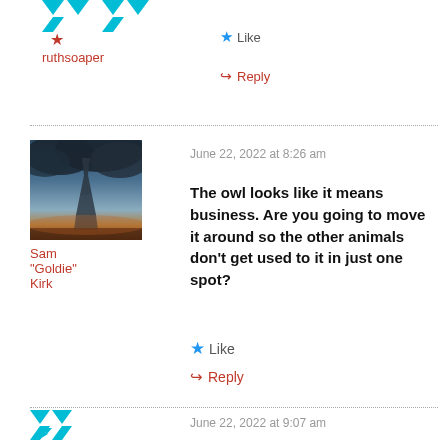[Figure (illustration): Teal geometric/origami-style logo icon at top]
ruthsoaper
Like
Reply
[Figure (photo): Tornado storm photo used as avatar for Sam Goldie Kirk]
Sam "Goldie" Kirk
June 22, 2022 at 8:26 am
The owl looks like it means business. Are you going to move it around so the other animals don't get used to it in just one spot?
Like
Reply
[Figure (illustration): Teal geometric logo icon at bottom]
June 22, 2022 at 9:07 am